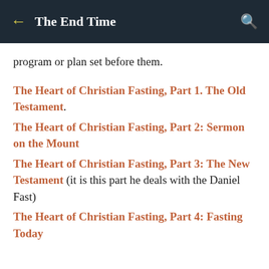The End Time
program or plan set before them.
The Heart of Christian Fasting, Part 1. The Old Testament.
The Heart of Christian Fasting, Part 2: Sermon on the Mount
The Heart of Christian Fasting, Part 3: The New Testament (it is this part he deals with the Daniel Fast)
The Heart of Christian Fasting, Part 4: Fasting Today